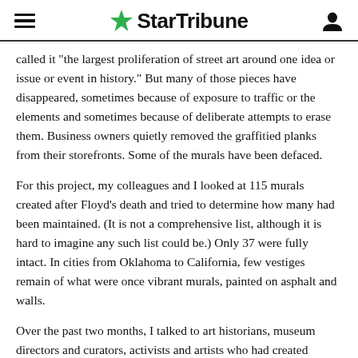StarTribune
called it "the largest proliferation of street art around one idea or issue or event in history." But many of those pieces have disappeared, sometimes because of exposure to traffic or the elements and sometimes because of deliberate attempts to erase them. Business owners quietly removed the graffitied planks from their storefronts. Some of the murals have been defaced.
For this project, my colleagues and I looked at 115 murals created after Floyd's death and tried to determine how many had been maintained. (It is not a comprehensive list, although it is hard to imagine any such list could be.) Only 37 were fully intact. In cities from Oklahoma to California, few vestiges remain of what were once vibrant murals, painted on asphalt and walls.
Over the past two months, I talked to art historians, museum directors and curators, activists and artists who had created murals. The picture that emerges is of a group determined to preserve as much of the art as possible while understanding that it